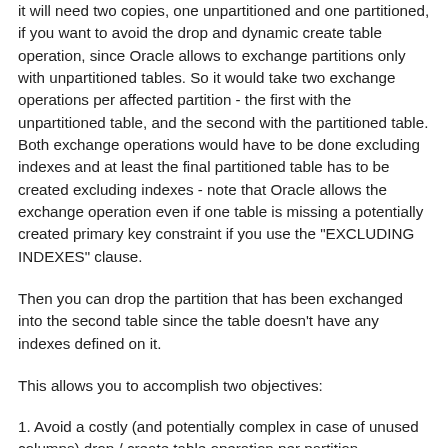it will need two copies, one unpartitioned and one partitioned, if you want to avoid the drop and dynamic create table operation, since Oracle allows to exchange partitions only with unpartitioned tables. So it would take two exchange operations per affected partition - the first with the unpartitioned table, and the second with the partitioned table. Both exchange operations would have to be done excluding indexes and at least the final partitioned table has to be created excluding indexes - note that Oracle allows the exchange operation even if one table is missing a potentially created primary key constraint if you use the "EXCLUDING INDEXES" clause.
Then you can drop the partition that has been exchanged into the second table since the table doesn't have any indexes defined on it.
This allows you to accomplish two objectives:
1. Avoid a costly (and potentially complex in case of unused columns) drop / create table operation per partition
2. Manage the drop / create cycle by simply dropping and adding partitions to the second table, which is faster